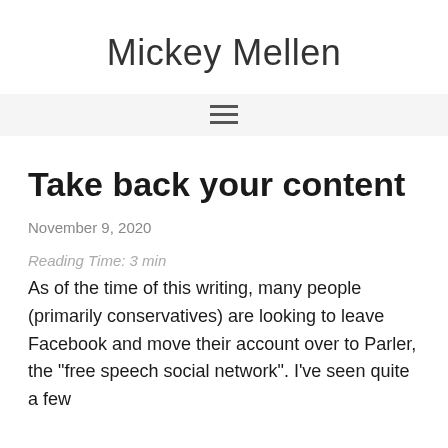Mickey Mellen
[Figure (other): Hamburger menu navigation icon (three horizontal lines)]
Take back your content
November 9, 2020
Reading Time: 3 min
As of the time of this writing, many people (primarily conservatives) are looking to leave Facebook and move their account over to Parler, the "free speech social network". I've seen quite a few